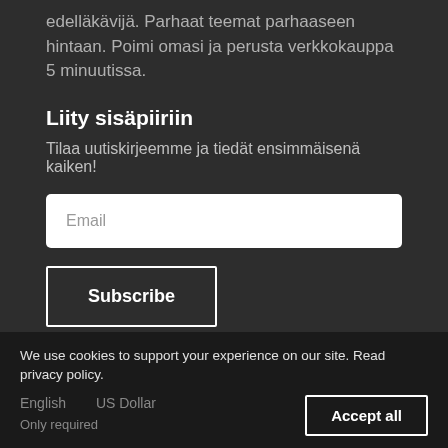edelläkävijä. Parhaat teemat parhaaseen hintaan. Poimi omasi ja perusta verkkokauppa 5 minuutissa.
Liity sisäpiiriin
Tilaa uutiskirjeemme ja tiedät ensimmäisenä kaiken!
Email
Subscribe
Tämä on Cora-teeman demokauppa
Cookie settings  |  Powered by Rinqu
We use cookies to support your experience on our site. Read privacy policy.
English   US Dollar
Only required
Accept all